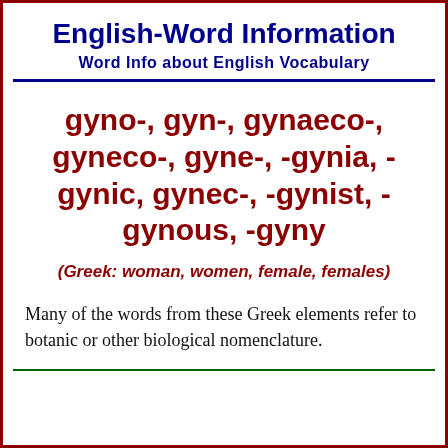English-Word Information
Word Info about English Vocabulary
gyno-, gyn-, gynaeco-, gyneco-, gyne-, -gynia, -gynic, gynec-, -gynist, -gynous, -gyny
(Greek: woman, women, female, females)
Many of the words from these Greek elements refer to botanic or other biological nomenclature.